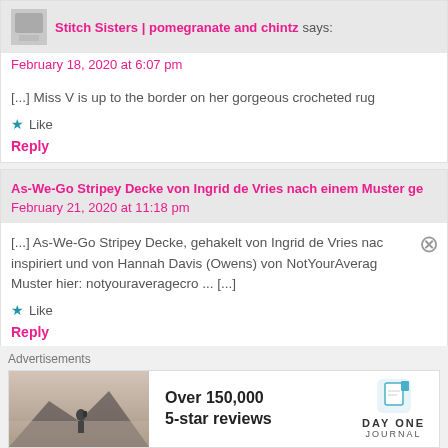Stitch Sisters | pomegranate and chintz says:
February 18, 2020 at 6:07 pm
[...] Miss V is up to the border on her gorgeous crocheted rug
★ Like
Reply
As-We-Go Stripey Decke von Ingrid de Vries nach einem Muster ge
February 21, 2020 at 11:18 pm
[...] As-We-Go Stripey Decke, gehakelt von Ingrid de Vries nac inspiriert und von Hannah Davis (Owens) von NotYourAverag Muster hier: notyouraveragecro ... [...]
★ Like
Reply
Advertisements
[Figure (infographic): Ad banner: Over 150,000 5-star reviews. Day One Journal logo. Photo of person on mountain.]